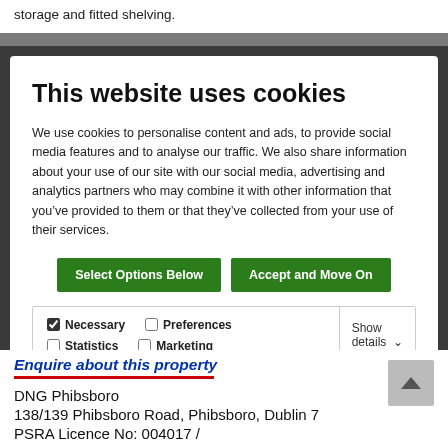storage and fitted shelving.
This website uses cookies
We use cookies to personalise content and ads, to provide social media features and to analyse our traffic. We also share information about your use of our site with our social media, advertising and analytics partners who may combine it with other information that you've provided to them or that they've collected from your use of their services.
Select Options Below | Accept and Move On
Necessary  Preferences  Statistics  Marketing  Show details
Enquire about this property
DNG Phibsboro
138/139 Phibsboro Road, Phibsboro, Dublin 7
PSRA Licence No: 004017 /